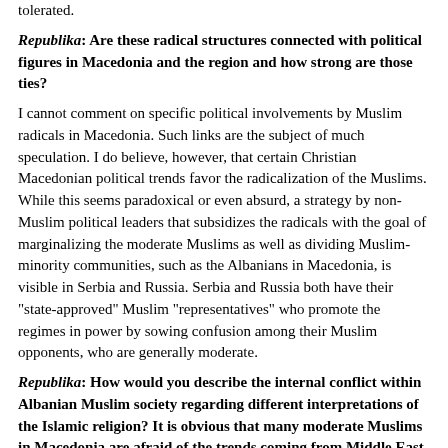tolerated.
Republika: Are these radical structures connected with political figures in Macedonia and the region and how strong are those ties?
I cannot comment on specific political involvements by Muslim radicals in Macedonia. Such links are the subject of much speculation. I do believe, however, that certain Christian Macedonian political trends favor the radicalization of the Muslims. While this seems paradoxical or even absurd, a strategy by non-Muslim political leaders that subsidizes the radicals with the goal of marginalizing the moderate Muslims as well as dividing Muslim-minority communities, such as the Albanians in Macedonia, is visible in Serbia and Russia. Serbia and Russia both have their "state-approved" Muslim "representatives" who promote the regimes in power by sowing confusion among their Muslim opponents, who are generally moderate.
Republika: How would you describe the internal conflict within Albanian Muslim society regarding different interpretations of the Islamic religion? It is obvious that many moderate Muslims in Macedonia are afraid of the trends coming from Middle East but they are quiet about this.
The effort to penetrate, infiltrate the leadership, and dominate the